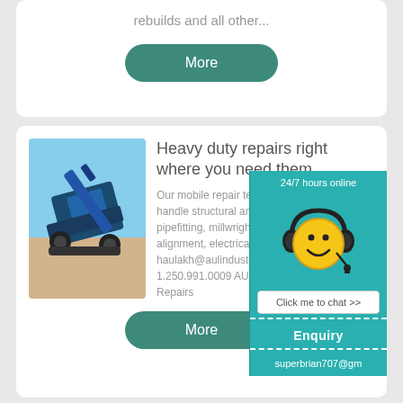rebuilds and all other...
More
[Figure (photo): Blue heavy machinery equipment (rock crusher/screener) on sandy ground]
Heavy duty repairs right where you need them
Our mobile repair team can handle structural and pipefitting, millwright alignment, electrical and haulakh@aulindustria... 1.250.991.0009 AUL... Repairs
[Figure (infographic): Chat widget with 24/7 hours online banner, smiley face with headset, Click me to chat >> button, Enquiry section, and email superbrian707@g...]
More